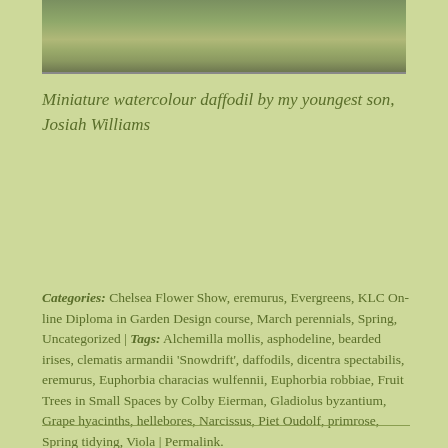[Figure (photo): Partial view of a miniature watercolour painting of a daffodil, green and muted tones visible at top of image strip]
Miniature watercolour daffodil by my youngest son, Josiah Williams
Categories: Chelsea Flower Show, eremurus, Evergreens, KLC On-line Diploma in Garden Design course, March perennials, Spring, Uncategorized | Tags: Alchemilla mollis, asphodeline, bearded irises, clematis armandii 'Snowdrift', daffodils, dicentra spectabilis, eremurus, Euphorbia characias wulfennii, Euphorbia robbiae, Fruit Trees in Small Spaces by Colby Eierman, Gladiolus byzantium, Grape hyacinths, hellebores, Narcissus, Piet Oudolf, primrose, Spring tidying, Viola | Permalink.